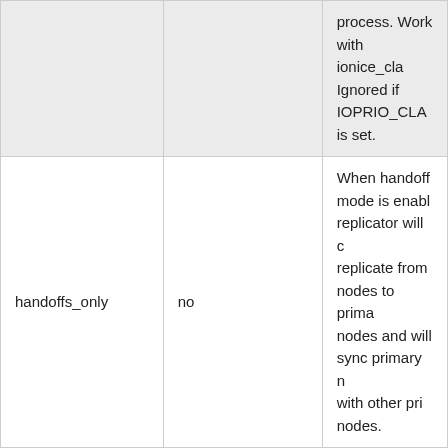| Option | Default | Description |
| --- | --- | --- |
|  |  | process. Work with ionice_cla Ignored if IOPRIO_CLA is set. |
| handoffs_only | no | When handoff mode is enab replicator will replicate from nodes to prim nodes and wil sync primary n with other pri nodes. |
|  |  | the number of which are ens swift. If the nu less than the r of replicas is s container-repl |